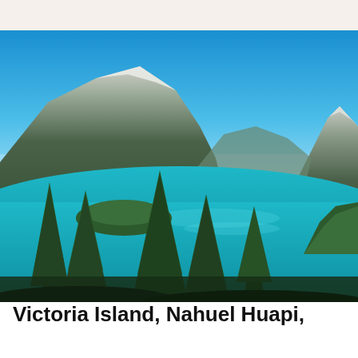[Figure (photo): Aerial scenic view of Victoria Island on Nahuel Huapi Lake in Patagonia, Argentina. Turquoise blue lake water surrounded by snow-capped mountains and dense green forests with tall conifers in the foreground under a clear blue sky.]
Victoria Island, Nahuel Huapi, Patagonia